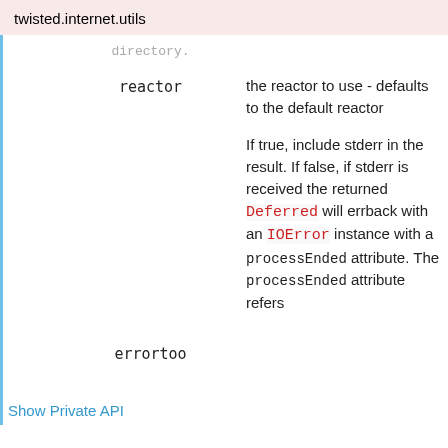twisted.internet.utils
| Parameter | Description |
| --- | --- |
| reactor | the reactor to use - defaults to the default reactor |
| errortoo | If true, include stderr in the result. If false, if stderr is received the returned Deferred will errback with an IOError instance with a processEnded attribute. The processEnded attribute refers |
Show Private API